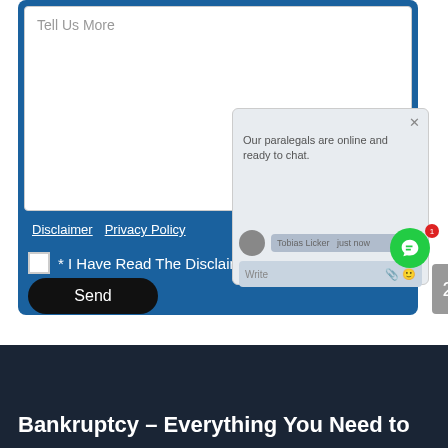[Figure (screenshot): Web form screenshot showing a textarea labeled 'Tell Us More', links for Disclaimer and Privacy Policy, a checkbox 'I Have Read The Disclaimer', a Send button, and an overlapping live chat popup widget with a green chat bubble icon and a gray '2' tab on the right edge.]
Bankruptcy – Everything You Need to